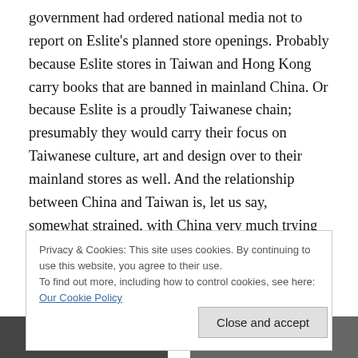government had ordered national media not to report on Eslite's planned store openings. Probably because Eslite stores in Taiwan and Hong Kong carry books that are banned in mainland China. Or because Eslite is a proudly Taiwanese chain; presumably they would carry their focus on Taiwanese culture, art and design over to their mainland stores as well. And the relationship between China and Taiwan is, let us say, somewhat strained, with China very much trying to keep its cultural and political grip on Taiwan.
Privacy & Cookies: This site uses cookies. By continuing to use this website, you agree to their use.
To find out more, including how to control cookies, see here: Our Cookie Policy
Close and accept
[Figure (photo): Two partial photos at the bottom of the page, one on the left showing dark shelving/store interior, one on the right partially visible.]